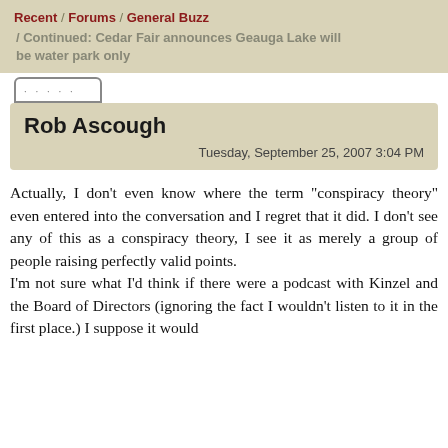Recent / Forums / General Buzz / Continued: Cedar Fair announces Geauga Lake will be water park only
Rob Ascough
Tuesday, September 25, 2007 3:04 PM
Actually, I don't even know where the term "conspiracy theory" even entered into the conversation and I regret that it did. I don't see any of this as a conspiracy theory, I see it as merely a group of people raising perfectly valid points.
I'm not sure what I'd think if there were a podcast with Kinzel and the Board of Directors (ignoring the fact I wouldn't listen to it in the first place.) I suppose it would